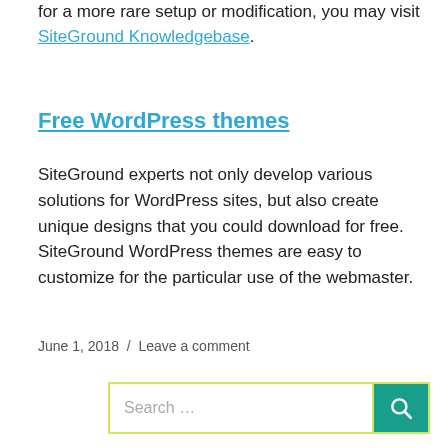for a more rare setup or modification, you may visit SiteGround Knowledgebase.
Free WordPress themes
SiteGround experts not only develop various solutions for WordPress sites, but also create unique designs that you could download for free. SiteGround WordPress themes are easy to customize for the particular use of the webmaster.
June 1, 2018  /  Leave a comment
[Figure (other): Search input box with teal search button and yellow-green border]